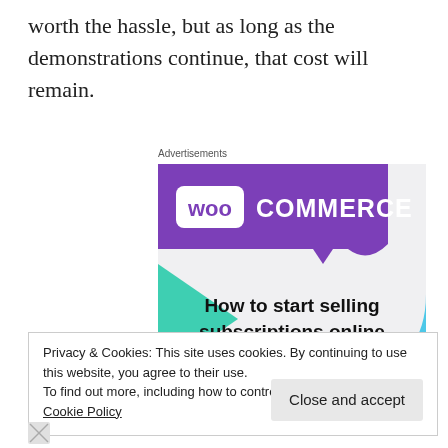worth the hassle, but as long as the demonstrations continue, that cost will remain.
Advertisements
[Figure (screenshot): WooCommerce advertisement banner showing logo and text 'How to start selling subscriptions online' on a light grey background with purple and teal geometric shapes.]
Privacy & Cookies: This site uses cookies. By continuing to use this website, you agree to their use.
To find out more, including how to control cookies, see here: Cookie Policy
Close and accept